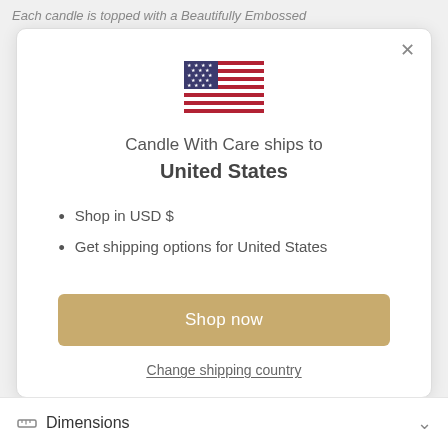Each candle is topped with a Beautifully Embossed
[Figure (illustration): US flag emoji/icon]
Candle With Care ships to
United States
Shop in USD $
Get shipping options for United States
Shop now
Change shipping country
Dimensions